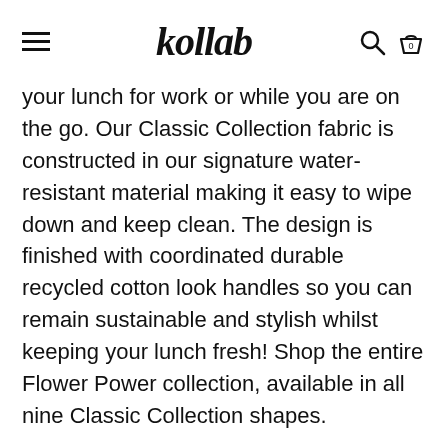kollab
your lunch for work or while you are on the go. Our Classic Collection fabric is constructed in our signature water-resistant material making it easy to wipe down and keep clean. The design is finished with coordinated durable recycled cotton look handles so you can remain sustainable and stylish whilst keeping your lunch fresh! Shop the entire Flower Power collection, available in all nine Classic Collection shapes.